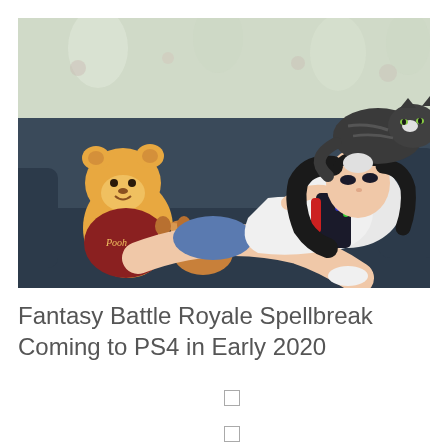[Figure (illustration): Digital illustration of a young woman lying on a dark blue sofa playing a handheld game console (Nintendo Switch). She is wearing a white shirt and blue shorts, resting on white pillows. Beside her is a Winnie the Pooh plush toy and a corgi dog. A striped cat is perched on the back of the sofa in the upper right. Floral curtains are visible in the background.]
Fantasy Battle Royale Spellbreak Coming to PS4 in Early 2020